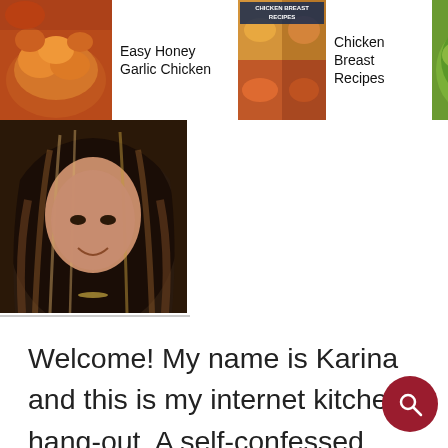[Figure (screenshot): Top navigation bar with food recipe images and labels: 'Easy Honey Garlic Chicken', 'Chicken Breast Recipes', 'Honey Mustard Chicken Salad with Bacon' (partially visible), each with a thumbnail food photo]
[Figure (photo): Profile photo of a woman with curly dark hair, smiling]
Welcome! My name is Karina and this is my internet kitchen hang-out. A self-confessed balanced foodie sharing some waistline friendly recipes that are full of flavour. Life is too short for bland and boring. …